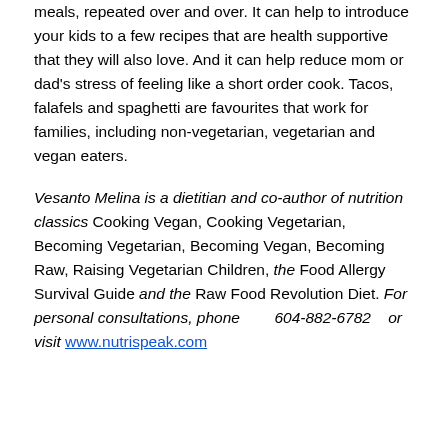meals, repeated over and over. It can help to introduce your kids to a few recipes that are health supportive that they will also love. And it can help reduce mom or dad's stress of feeling like a short order cook. Tacos, falafels and spaghetti are favourites that work for families, including non-vegetarian, vegetarian and vegan eaters.
Vesanto Melina is a dietitian and co-author of nutrition classics Cooking Vegan, Cooking Vegetarian, Becoming Vegetarian, Becoming Vegan, Becoming Raw, Raising Vegetarian Children, the Food Allergy Survival Guide and the Raw Food Revolution Diet. For personal consultations, phone 604-882-6782 or visit www.nutrispeak.com